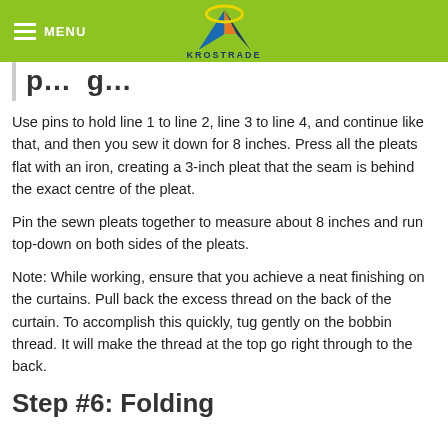MENU | KROSTRADE
p...g...
Use pins to hold line 1 to line 2, line 3 to line 4, and continue like that, and then you sew it down for 8 inches. Press all the pleats flat with an iron, creating a 3-inch pleat that the seam is behind the exact centre of the pleat.
Pin the sewn pleats together to measure about 8 inches and run top-down on both sides of the pleats.
Note: While working, ensure that you achieve a neat finishing on the curtains. Pull back the excess thread on the back of the curtain. To accomplish this quickly, tug gently on the bobbin thread. It will make the thread at the top go right through to the back.
Step #6: Folding